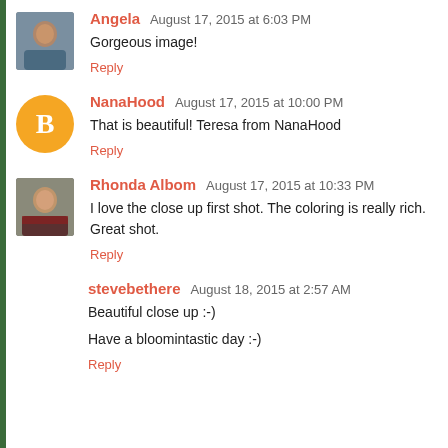Angela  August 17, 2015 at 6:03 PM
Gorgeous image!
Reply
NanaHood  August 17, 2015 at 10:00 PM
That is beautiful! Teresa from NanaHood
Reply
Rhonda Albom  August 17, 2015 at 10:33 PM
I love the close up first shot. The coloring is really rich. Great shot.
Reply
stevebethere  August 18, 2015 at 2:57 AM
Beautiful close up :-)
Have a bloomintastic day :-)
Reply